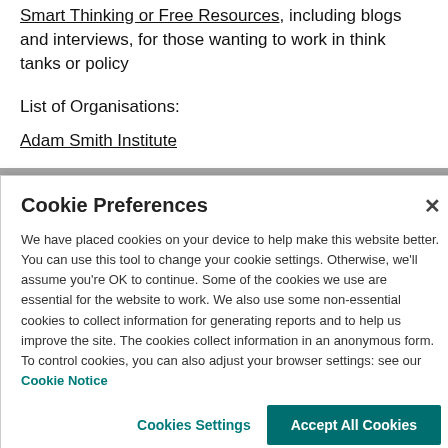Smart Thinking or Free Resources, including blogs and interviews, for those wanting to work in think tanks or policy
List of Organisations:
Adam Smith Institute
Cookie Preferences
We have placed cookies on your device to help make this website better. You can use this tool to change your cookie settings. Otherwise, we'll assume you're OK to continue. Some of the cookies we use are essential for the website to work. We also use some non-essential cookies to collect information for generating reports and to help us improve the site. The cookies collect information in an anonymous form. To control cookies, you can also adjust your browser settings: see our Cookie Notice
Cookies Settings
Accept All Cookies